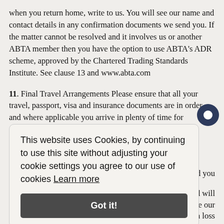when you return home, write to us. You will see our name and contact details in any confirmation documents we send you. If the matter cannot be resolved and it involves us or another ABTA member then you have the option to use ABTA's ADR scheme, approved by the Chartered Trading Standards Institute. See clause 13 and www.abta.com
11. Final Travel Arrangements Please ensure that all your travel, passport, visa and insurance documents are in order and where applicable you arrive in plenty of time for checking in at the port or airport. For flights it may be necessary to reconfirm your flight with the airline prior to departure. If you fail to reconfirm ... nd you ... osted will leave our such loss need to
This website uses Cookies, by continuing to use this site without adjusting your cookie settings you agree to our use of cookies Learn more
Got it!